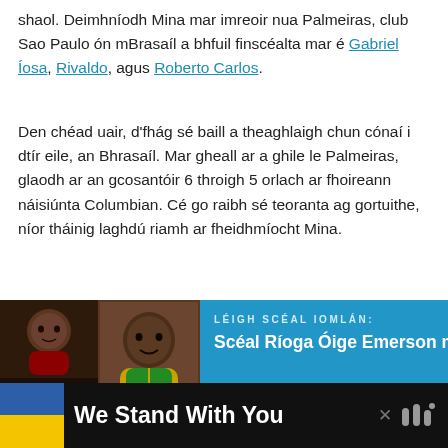shaol. Deimhníodh Mina mar imreoir nua Palmeiras, club Sao Paulo ón mBrasaíl a bhfuil finscéalta mar é Gabriel Íosa, Rivaldo, agus Roberto Carlos.
Den chéad uair, d'fhág sé baill a theaghlaigh chun cónaí i dtír eile, an Bhrasaíl. Mar gheall ar a ghile le Palmeiras, glaodh ar an gcosantóir 6 throigh 5 orlach ar fhoireann náisiúnta Columbian. Cé go raibh sé teoranta ag gortuithe, níor tháinig laghdú riamh ar fheidhmíocht Mina.
[Figure (photo): Blue promotional card with photos of a young child (two photos on left) and a footballer in a yellow/green jersey (right), with text: LÉIGH SCÉAL IOMLÁN: Scéal Ríoga Óige Emerson móide Fírící Beathaisné Neamhfhillte]
[Figure (infographic): What's Next panel with thumbnail image and text: WHAT'S NEXT → Scéal Oige Dayot...]
We Stand With You